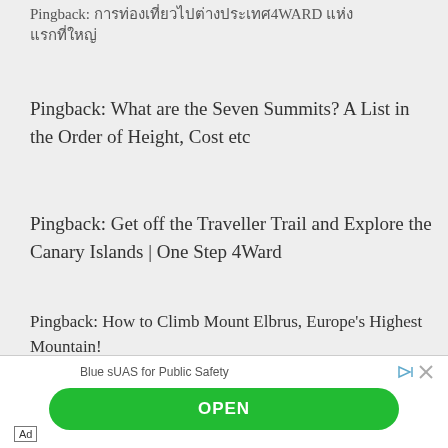Pingback: [non-latin text]4WARD [non-latin text]
Pingback: What are the Seven Summits? A List in the Order of Height, Cost etc
Pingback: Get off the Traveller Trail and Explore the Canary Islands | One Step 4Ward
Pingback: How to Climb Mount Elbrus, Europe's Highest Mountain!
[Figure (other): Advertisement banner with 'Blue sUAS for Public Safety' text, an OPEN button in green, and an Ad label]
Ad